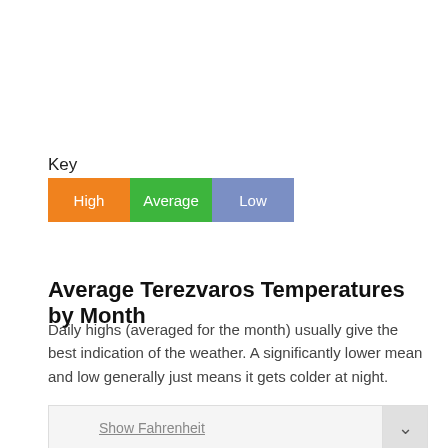Key
[Figure (infographic): Legend showing three colored boxes labeled High (orange), Average (green), and Low (blue-purple)]
Average Terezvaros Temperatures by Month
Daily highs (averaged for the month) usually give the best indication of the weather. A significantly lower mean and low generally just means it gets colder at night.
Show Fahrenheit